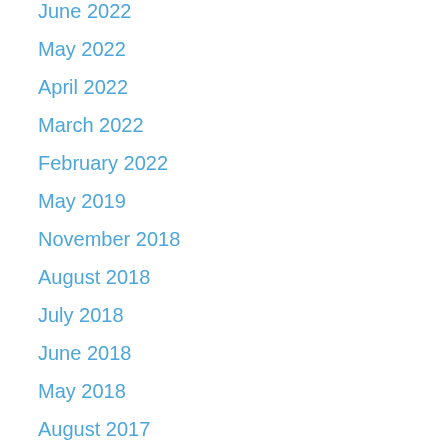June 2022
May 2022
April 2022
March 2022
February 2022
May 2019
November 2018
August 2018
July 2018
June 2018
May 2018
August 2017
December 2015
November 2015
September 2015
July 2015
February 2015
October 2014
September 2014
January 2014